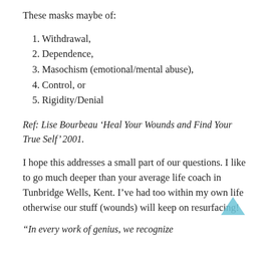These masks maybe of:
1. Withdrawal,
2. Dependence,
3. Masochism (emotional/mental abuse),
4. Control, or
5. Rigidity/Denial
Ref: Lise Bourbeau ‘Heal Your Wounds and Find Your True Self’ 2001.
I hope this addresses a small part of our questions. I like to go much deeper than your average life coach in Tunbridge Wells, Kent. I’ve had too within my own life otherwise our stuff (wounds) will keep on resurfacing!
“In every work of genius, we recognize